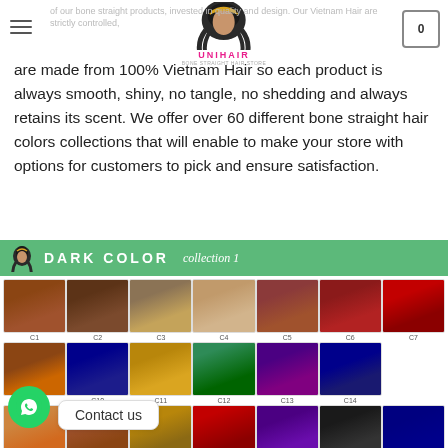Unihairvn's bone straight hair products
of our bone straight products, invested in quality and design. Our Vietnam Hair are strictly controlled, all are made from 100% Vietnam Hair so each product is always smooth, shiny, no tangle, no shedding and always retains its scent. We offer over 60 different bone straight hair colors collections that will enable to make your store with options for customers to pick and ensure satisfaction.
[Figure (photo): Dark Color Collection 1 - grid of hair extension swatches labeled C1 through C22 showing various colors including browns, reds, blues, purples, greens, and blacks on a white background with a green header banner featuring DARK COLOR collection 1 text and Unihair logo.]
Contact us